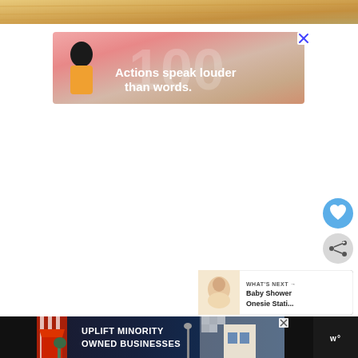[Figure (photo): Top portion of decorative image with warm golden/tan background]
[Figure (infographic): Pink advertisement banner with person silhouette and text: Actions speak louder than words.]
[Figure (illustration): Blue circular heart/like button]
[Figure (illustration): Gray circular share button]
[Figure (infographic): What's Next panel showing Baby Shower Onesie Stati... with thumbnail]
[Figure (infographic): Bottom banner ad: UPLIFT MINORITY OWNED BUSINESSES with store illustration on dark background]
[Figure (logo): Wurl logo on dark background, bottom right]